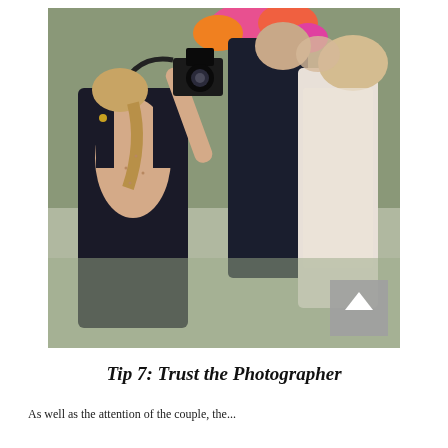[Figure (photo): A wedding photographer (woman in black dress, viewed from behind) photographing a couple kissing. The scene is outdoors with colorful flowers visible in the background.]
Tip 7: Trust the Photographer
As well as the attention of the couple, the...